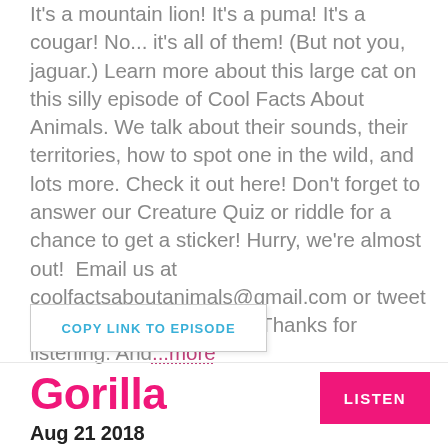It's a mountain lion! It's a puma! It's a cougar! No... it's all of them! (But not you, jaguar.) Learn more about this large cat on this silly episode of Cool Facts About Animals. We talk about their sounds, their territories, how to spot one in the wild, and lots more. Check it out here! Don't forget to answer our Creature Quiz or riddle for a chance to get a sticker! Hurry, we're almost out!  Email us at coolfactsaboutanimals@gmail.com or tweet us at @coolanimalspod.  Thanks for listening. And...more
COPY LINK TO EPISODE
Gorilla
LISTEN
Aug 21 2018